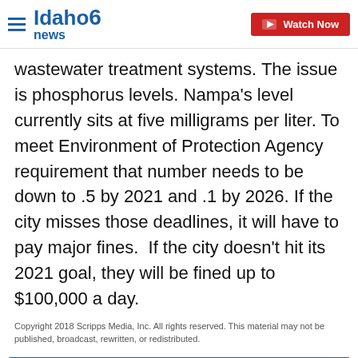Idaho News 6 | Watch Now
wastewater treatment systems. The issue is phosphorus levels. Nampa's level currently sits at five milligrams per liter. To meet Environment of Protection Agency requirement that number needs to be down to .5 by 2021 and .1 by 2026. If the city misses those deadlines, it will have to pay major fines.  If the city doesn't hit its 2021 goal, they will be fined up to $100,000 a day.
Copyright 2018 Scripps Media, Inc. All rights reserved. This material may not be published, broadcast, rewritten, or redistributed.
Sign up for the Headlines Newsletter and receive up to date information.